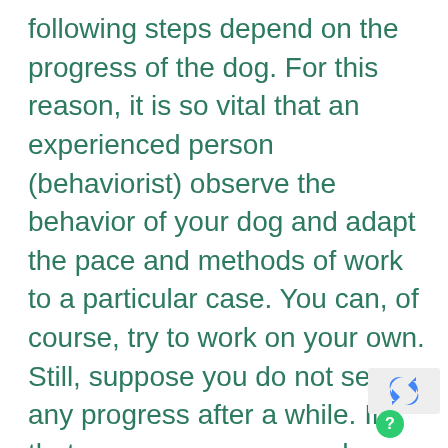following steps depend on the progress of the dog. For this reason, it is so vital that an experienced person (behaviorist) observe the behavior of your dog and adapt the pace and methods of work to a particular case. You can, of course, try to work on your own. Still, suppose you do not see any progress after a while. In that case, we recommend making an appointment with an expert. After all, it's about your comfort, as well as your pet's well-being.
[Figure (other): reCAPTCHA widget with recycling arrow logo and a green circle with question mark]